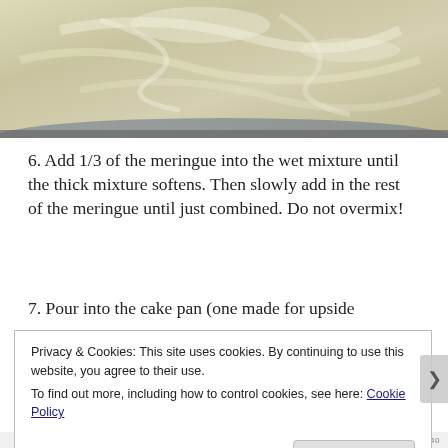[Figure (photo): Close-up photo of creamy white meringue mixture with swirled texture in a bowl, showing glossy peaks and folds against a blue bowl edge visible at bottom.]
6. Add 1/3 of the meringue into the wet mixture until the thick mixture softens. Then slowly add in the rest of the meringue until just combined. Do not overmix!
7. Pour into the cake pan (one made for upside
Privacy & Cookies: This site uses cookies. By continuing to use this website, you agree to their use.
To find out more, including how to control cookies, see here: Cookie Policy
Close and accept